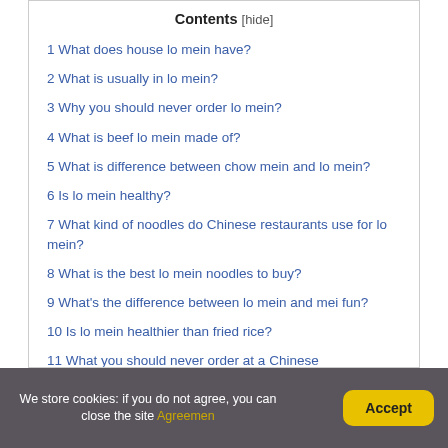Contents [hide]
1 What does house lo mein have?
2 What is usually in lo mein?
3 Why you should never order lo mein?
4 What is beef lo mein made of?
5 What is difference between chow mein and lo mein?
6 Is lo mein healthy?
7 What kind of noodles do Chinese restaurants use for lo mein?
8 What is the best lo mein noodles to buy?
9 What's the difference between lo mein and mei fun?
10 Is lo mein healthier than fried rice?
11 What you should never order at a Chinese
We store cookies: if you do not agree, you can close the site Agreemen